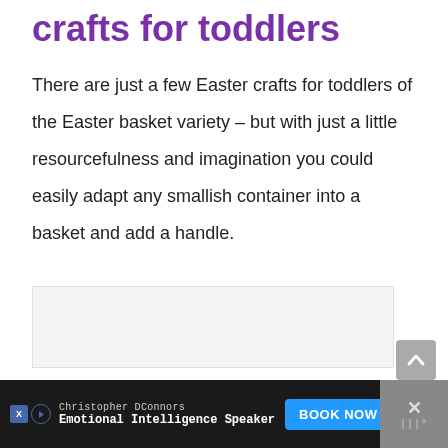crafts for toddlers
There are just a few Easter crafts for toddlers of the Easter basket variety – but with just a little resourcefulness and imagination you could easily adapt any smallish container into a basket and add a handle.
[Figure (other): Grey scroll-to-top button with upward arrow chevron]
[Figure (other): Advertisement banner at bottom: Christopher DConnors, Emotional Intelligence Speaker, BOOK NOW button, close X icon, logo with dots]
Christopher DConnors
Emotional Intelligence Speaker
BOOK NOW